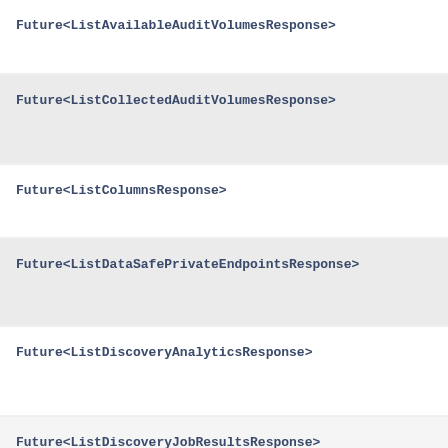Future<ListAvailableAuditVolumesResponse>
Future<ListCollectedAuditVolumesResponse>
Future<ListColumnsResponse>
Future<ListDataSafePrivateEndpointsResponse>
Future<ListDiscoveryAnalyticsResponse>
Future<ListDiscoveryJobResultsResponse>